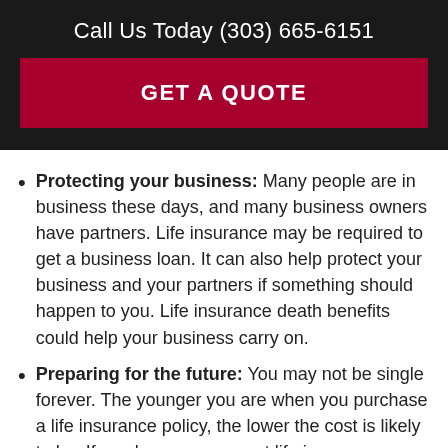Call Us Today (303) 665-6151
GET A QUOTE
Protecting your business: Many people are in business these days, and many business owners have partners. Life insurance may be required to get a business loan. It can also help protect your business and your partners if something should happen to you. Life insurance death benefits could help your business carry on.
Preparing for the future: You may not be single forever. The younger you are when you purchase a life insurance policy, the lower the cost is likely to be. If you buy a permanent life insurance policy